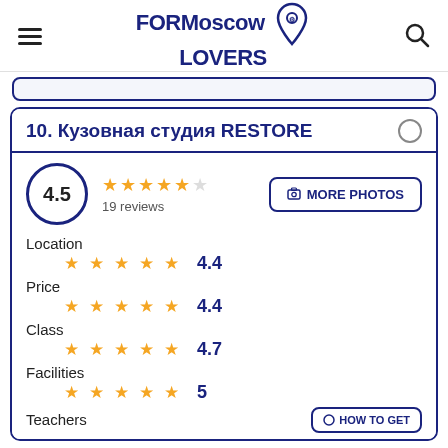FORMoscow LOVERS
10. Кузовная студия RESTORE
4.5  19 reviews
MORE PHOTOS
Location  4.4
Price  4.4
Class  4.7
Facilities  5
Teachers